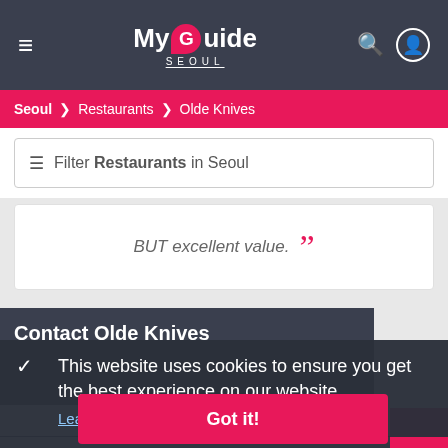My Guide SEOUL
Seoul > Restaurants > Olde Knives
Filter Restaurants in Seoul
BUT excellent value.
Contact Olde Knives
This website uses cookies to ensure you get the best experience on our website.
Learn more
Make Enquiry
Got it!
Intimate, quiet, specialized – That's OLDE KNIVES in a nutshell. OLDE KNIVES is a steak bar located in Hae bang chon area. Steak bar' is a particularly accurate description for this establishment as